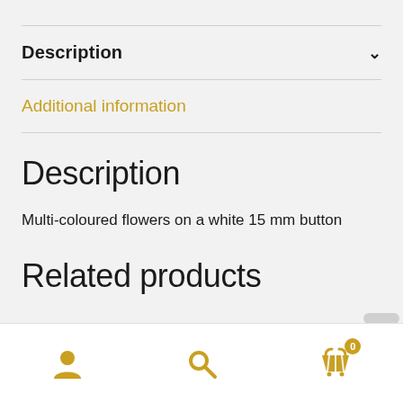Description
Additional information
Description
Multi-coloured flowers on a white 15 mm button
Related products